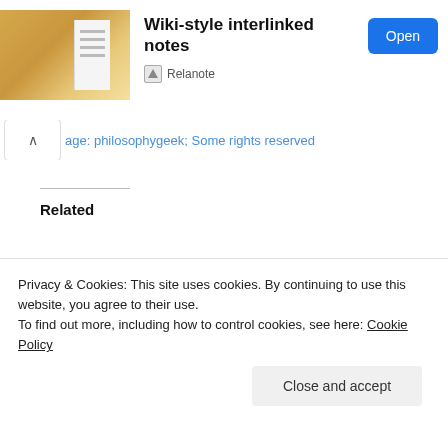[Figure (screenshot): App icon showing a golden/tan notebook with white lined paper pages visible]
Wiki-style interlinked notes
Relanote
Open
age: philosophygeek; Some rights reserved
Related
Improve Your Learning
Get Better With a
Privacy & Cookies: This site uses cookies. By continuing to use this website, you agree to their use.
To find out more, including how to control cookies, see here: Cookie Policy
Close and accept